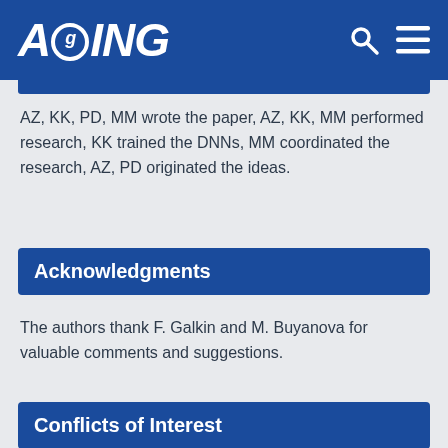AGING
AZ, KK, PD, MM wrote the paper, AZ, KK, MM performed research, KK trained the DNNs, MM coordinated the research, AZ, PD originated the ideas.
Acknowledgments
The authors thank F. Galkin and M. Buyanova for valuable comments and suggestions.
Conflicts of Interest